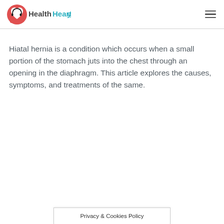HealthHearty
Hiatal hernia is a condition which occurs when a small portion of the stomach juts into the chest through an opening in the diaphragm. This article explores the causes, symptoms, and treatments of the same.
Privacy & Cookies Policy